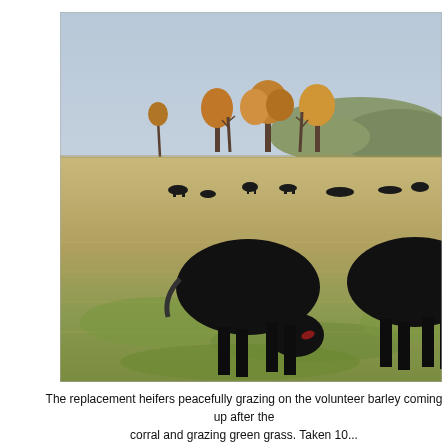[Figure (photo): Black Angus replacement heifers grazing in a field with dry and green grass, with more cattle visible in the background, autumn trees and hills in the distance under a hazy sky.]
The replacement heifers peacefully grazing on the volunteer barley coming up after the corral and grazing green grass. Taken 10...